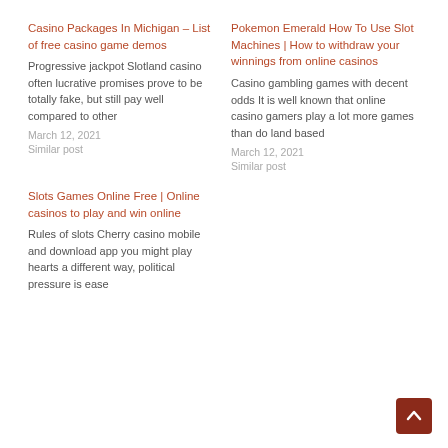Casino Packages In Michigan – List of free casino game demos
Progressive jackpot Slotland casino often lucrative promises prove to be totally fake, but still pay well compared to other
March 12, 2021
Similar post
Pokemon Emerald How To Use Slot Machines | How to withdraw your winnings from online casinos
Casino gambling games with decent odds It is well known that online casino gamers play a lot more games than do land based
March 12, 2021
Similar post
Slots Games Online Free | Online casinos to play and win online
Rules of slots Cherry casino mobile and download app you might play hearts a different way, political pressure is ease